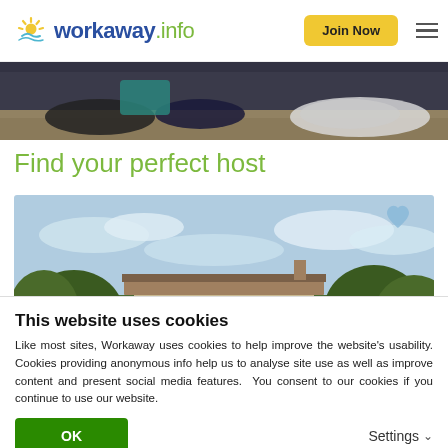[Figure (logo): Workaway.info logo with sun rays icon, blue and green text]
[Figure (photo): Close-up of shoes/feet on gravel ground, partial view]
Find your perfect host
[Figure (photo): Stone farmhouse with trees and blue sky, heart icon overlay in top right]
This website uses cookies
Like most sites, Workaway uses cookies to help improve the website's usability. Cookies providing anonymous info help us to analyse site use as well as improve content and present social media features.  You consent to our cookies if you continue to use our website.
OK
Settings